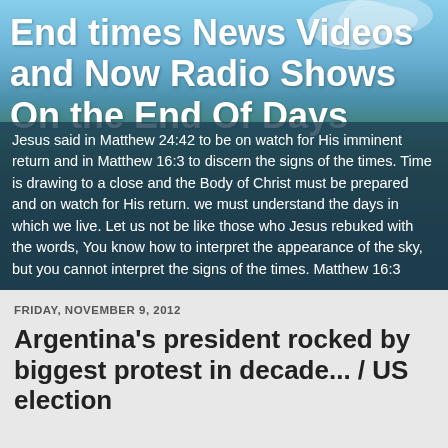End times News Videos and Now Radio Shows On the End Of Days
Jesus said in Matthew 24:42 to be on watch for His imminent return and in Matthew 16:3 to discern the signs of the times. Time is drawing to a close and the Body of Christ must be prepared and on watch for His return. we must understand the days in which we live. Let us not be like those who Jesus rebuked with the words, You know how to interpret the appearance of the sky, but you cannot interpret the signs of the times. Matthew 16:3
FRIDAY, NOVEMBER 9, 2012
Argentina's president rocked by biggest protest in decade... / US election